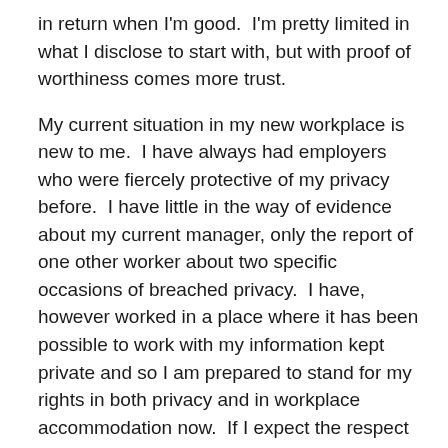in return when I'm good.  I'm pretty limited in what I disclose to start with, but with proof of worthiness comes more trust.
My current situation in my new workplace is new to me.  I have always had employers who were fiercely protective of my privacy before.  I have little in the way of evidence about my current manager, only the report of one other worker about two specific occasions of breached privacy.  I have, however worked in a place where it has been possible to work with my information kept private and so I am prepared to stand for my rights in both privacy and in workplace accommodation now.  If I expect the respect of others, there may be times that I need to stand up and remind them what it entails.  This is however new to me and the workplace is one with strange dynamics.